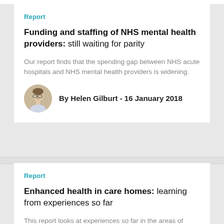Report
Funding and staffing of NHS mental health providers: still waiting for parity
Our report finds that the spending gap between NHS acute hospitals and NHS mental health providers is widening.
By Helen Gilburt - 16 January 2018
Report
Enhanced health in care homes: learning from experiences so far
This report looks at experiences so far in the areas of England working on delivering enhanced health in care homes.